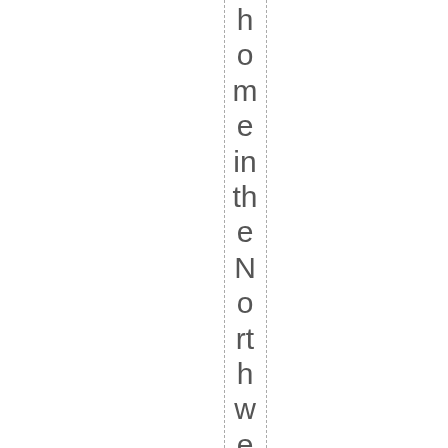home in the Northwest. My goal is to gob